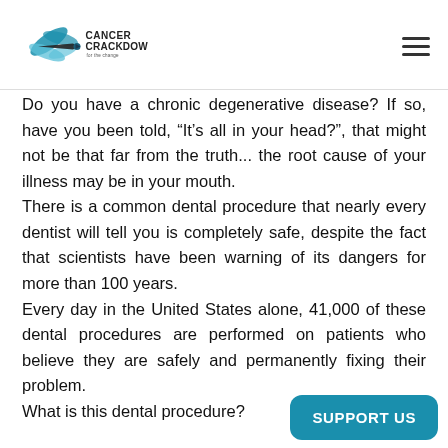Cancer Crackdown
Do you have a chronic degenerative disease? If so, have you been told, “It’s all in your head?”, that might not be that far from the truth... the root cause of your illness may be in your mouth.
There is a common dental procedure that nearly every dentist will tell you is completely safe, despite the fact that scientists have been warning of its dangers for more than 100 years.
Every day in the United States alone, 41,000 of these dental procedures are performed on patients who believe they are safely and permanently fixing their problem.
What is this dental procedure?